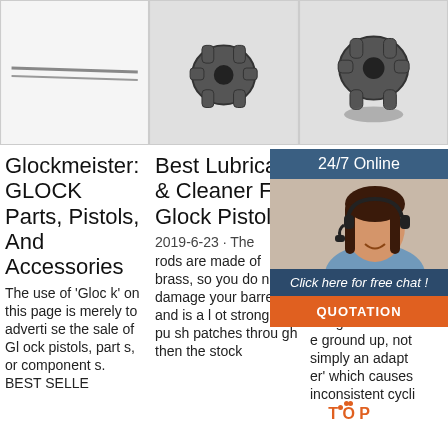[Figure (photo): Photo of cleaning rods/pins against white background]
[Figure (photo): Photo of a dark metal gun part/muzzle device from top angle]
[Figure (photo): Photo of a dark metal gun part/muzzle device from side angle]
Glockmeister: GLOCK Parts, Pistols, And Accessories
Best Lubricant & Cleaner For Glock Pistols
Ge He Ro Bri
The use of 'Gloc k' on this page is merely to adverti se the sale of Gl ock pistols, part s, or component s. BEST SELLE
2019-6-23 · The rods are made of brass, so you do n't damage your barrel, and is a l ot stronger to pu sh patches throu gh then the stock
201 er C Roc designed from th e ground up, not simply an adapt er' which causes inconsistent cycli
[Figure (photo): Chat widget with agent photo, 24/7 Online header, Click here for free chat link, and QUOTATION button]